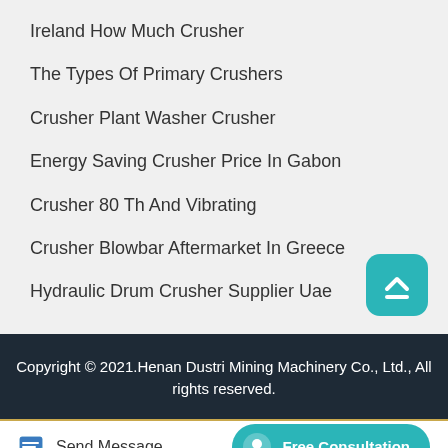Ireland How Much Crusher
The Types Of Primary Crushers
Crusher Plant Washer Crusher
Energy Saving Crusher Price In Gabon
Crusher 80 Th And Vibrating
Crusher Blowbar Aftermarket In Greece
Hydraulic Drum Crusher Supplier Uae
Copyright © 2021.Henan Dustri Mining Machinery Co., Ltd., All rights reserved.
Send Message
Free Consultation